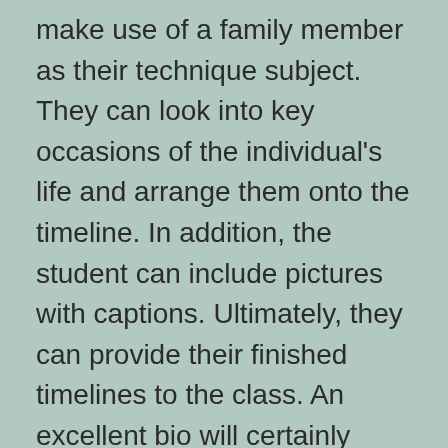make use of a family member as their technique subject. They can look into key occasions of the individual's life and arrange them onto the timeline. In addition, the student can include pictures with captions. Ultimately, they can provide their finished timelines to the class. An excellent bio will certainly have a strong structure and also focus. This will ensure the viewers has an interest in checking out the entire piece.
The following action is to compose the notes as well as timeline. After creating the notes,